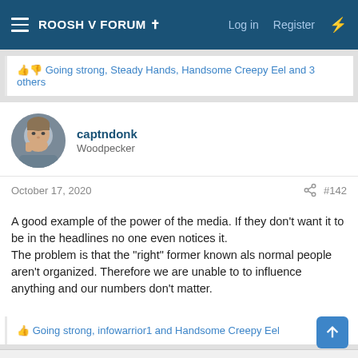ROOSH V FORUM ✝  Log in  Register
👍👎 Going strong, Steady Hands, Handsome Creepy Eel and 3 others
captndonk
Woodpecker
October 17, 2020  #142
A good example of the power of the media. If they don't want it to be in the headlines no one even notices it.
The problem is that the "right" former known als normal people aren't organized. Therefore we are unable to to influence anything and our numbers don't matter.
👍 Going strong, infowarrior1 and Handsome Creepy Eel
MRAll134
Pelican